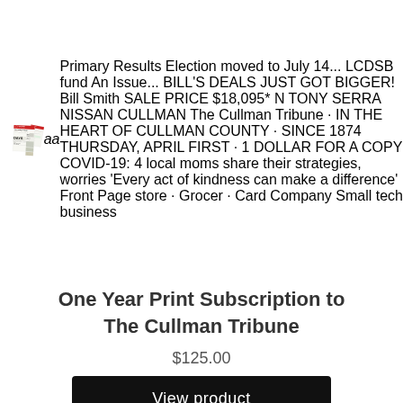[Figure (illustration): Stack of three The Cullman Tribune newspaper front pages fanned out, each showing a Tony Serra Nissan Cullman advertisement at the top and various news headlines. The front newspaper shows headlines including COVID-19 local moms stories, 'Every act of kindness can make a difference', and a Bill Smith car dealership advertisement at the bottom.]
One Year Print Subscription to The Cullman Tribune
$125.00
View product